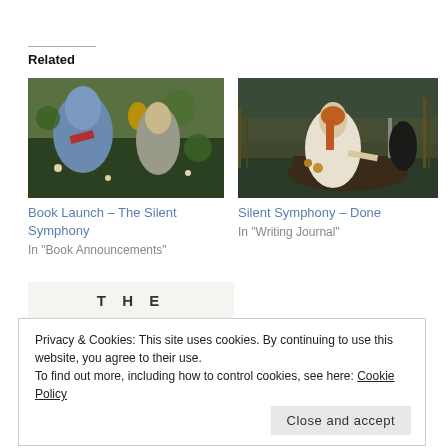Related
[Figure (photo): Pre-Raphaelite painting showing a woman in blue dress bending over flowers in a garden]
Book Launch – The Silent Symphony
In "Book Announcements"
[Figure (photo): Pre-Raphaelite painting of a woman with long red hair in a white dress sitting in a boat on a river]
Silent Symphony – Done
In "Writing Journal"
[Figure (other): Banner with text THE]
Privacy & Cookies: This site uses cookies. By continuing to use this website, you agree to their use.
To find out more, including how to control cookies, see here: Cookie Policy